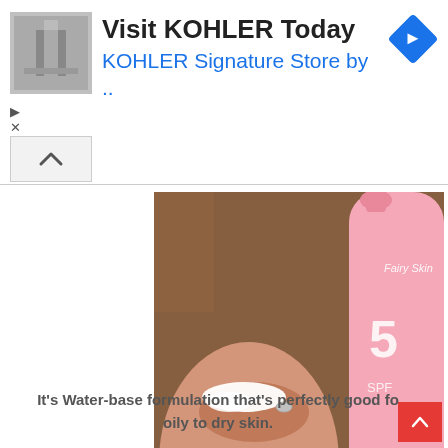[Figure (other): Advertisement banner for KOHLER with thumbnail image of bathroom fixture, title 'Visit KOHLER Today', subtitle 'KOHLER Signature Store by ..', and a blue diamond direction icon on the right. Small play and close icons bottom left.]
[Figure (photo): Close-up photo of a hand holding a pink SPF sunscreen bottle labeled 'Fairy Skin SPF 5x' with white cream dispensed on a finger, placed on a brown textured surface. Watermark text visible in center.]
It's Water-base formulation that's perfectly good fo oily to dry skin.